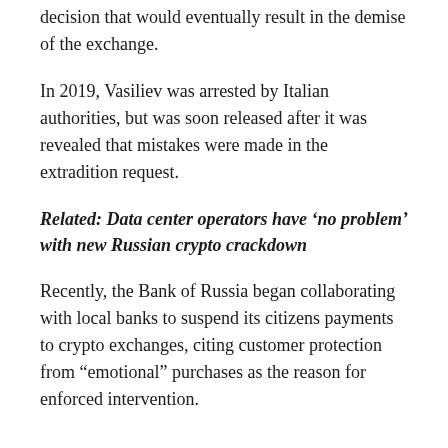decision that would eventually result in the demise of the exchange.
In 2019, Vasiliev was arrested by Italian authorities, but was soon released after it was revealed that mistakes were made in the extradition request.
Related: Data center operators have ‘no problem’ with new Russian crypto crackdown
Recently, the Bank of Russia began collaborating with local banks to suspend its citizens payments to crypto exchanges, citing customer protection from “emotional” purchases as the reason for enforced intervention.